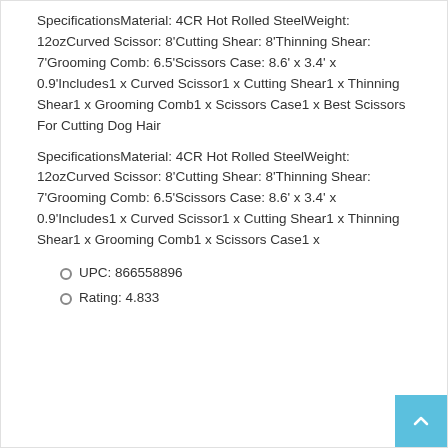SpecificationsMaterial: 4CR Hot Rolled SteelWeight: 12ozCurved Scissor: 8'Cutting Shear: 8'Thinning Shear: 7'Grooming Comb: 6.5'Scissors Case: 8.6' x 3.4' x 0.9'Includes1 x Curved Scissor1 x Cutting Shear1 x Thinning Shear1 x Grooming Comb1 x Scissors Case1 x Best Scissors For Cutting Dog Hair
SpecificationsMaterial: 4CR Hot Rolled SteelWeight: 12ozCurved Scissor: 8'Cutting Shear: 8'Thinning Shear: 7'Grooming Comb: 6.5'Scissors Case: 8.6' x 3.4' x 0.9'Includes1 x Curved Scissor1 x Cutting Shear1 x Thinning Shear1 x Grooming Comb1 x Scissors Case1 x
UPC: 866558896
Rating: 4.833